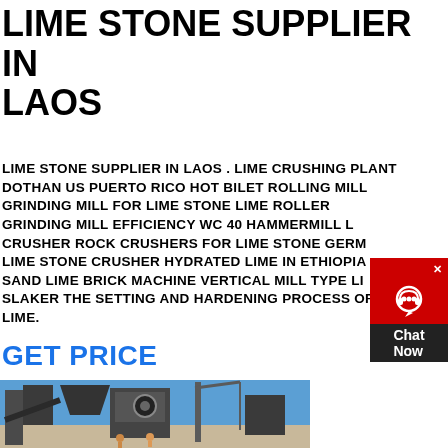LIME STONE SUPPLIER IN LAOS
LIME STONE SUPPLIER IN LAOS . LIME CRUSHING PLANT DOTHAN US PUERTO RICO HOT BILET ROLLING MILL GRINDING MILL FOR LIME STONE LIME ROLLER GRINDING MILL EFFICIENCY WC 40 HAMMERMILL L CRUSHER ROCK CRUSHERS FOR LIME STONE GERM LIME STONE CRUSHER HYDRATED LIME IN ETHIOPIA SAND LIME BRICK MACHINE VERTICAL MILL TYPE LI SLAKER THE SETTING AND HARDENING PROCESS OF LIME.
GET PRICE
[Figure (photo): Industrial crushing/screening plant machinery with conveyor belts, metal framework structures, and a crane visible against a blue sky, with workers visible at the bottom.]